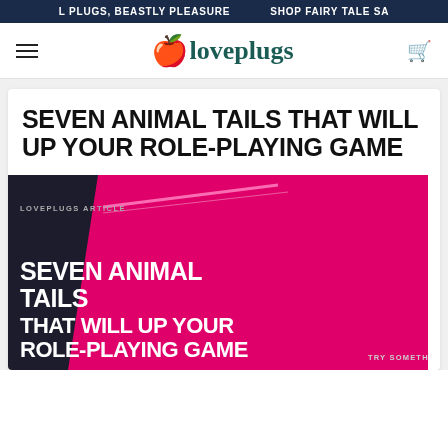L PLUGS, BEASTLY PLEASURE   SHOP FAIRY TALE SA
iloveplugs
SEVEN ANIMAL TAILS THAT WILL UP YOUR ROLE-PLAYING GAME
[Figure (illustration): Promotional graphic for loveplugs article. Dark left section with 'LOVEPLUGS ARTICLE' text, diagonal pink stripe, large pink right section with bold white text reading 'SEVEN ANIMAL TAILS THAT WILL UP YOUR ROLE-PLAYING GAME' and 'TRY SOMETHING NEW' text.]